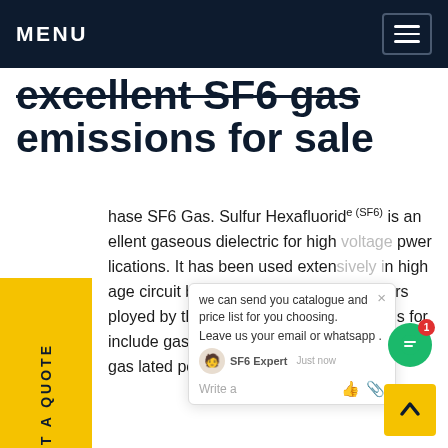MENU
excellent SF6 gas emissions for sale
Purchase SF6 Gas. Sulfur Hexafluoride (SF6) is an excellent gaseous dielectric for high voltage power applications. It has been used extensively in high voltage circuit breakers and other switchgear employed by the power industry. Applications for include gas insulated transmission lines and gas insulated power distributions. Get price
[Figure (screenshot): Chat popup overlay with agent message: 'we can send you catalogue and price list for you choosing. Leave us your email or whatsapp.' Agent labeled SF6 Expert. Write a message input area with like and attachment icons. Green chat bubble button with red badge showing 1.]
[Figure (photo): Industrial electrical power infrastructure photo showing high voltage power line towers, cranes, and electrical equipment against a grey sky.]
REQUEST A QUOTE